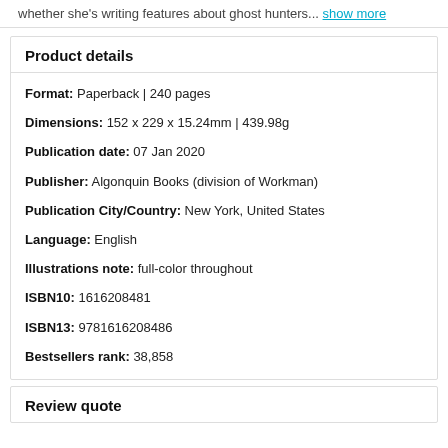whether she's writing features about ghost hunters... show more
Product details
Format: Paperback | 240 pages
Dimensions: 152 x 229 x 15.24mm | 439.98g
Publication date: 07 Jan 2020
Publisher: Algonquin Books (division of Workman)
Publication City/Country: New York, United States
Language: English
Illustrations note: full-color throughout
ISBN10: 1616208481
ISBN13: 9781616208486
Bestsellers rank: 38,858
Review quote